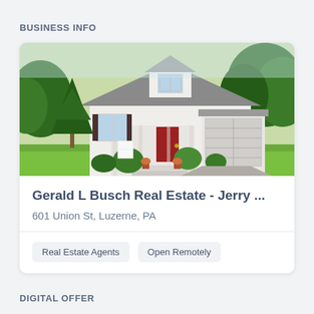BUSINESS INFO
[Figure (photo): Exterior photo of a white two-story house with a front porch, red door, attached garage, and green trees/shrubs in the background.]
Gerald L Busch Real Estate - Jerry ...
601 Union St, Luzerne, PA
Real Estate Agents
Open Remotely
DIGITAL OFFER
Not Available